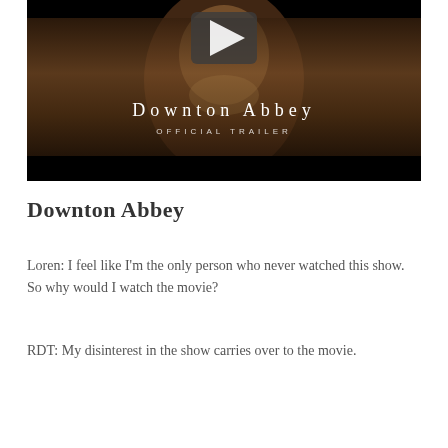[Figure (screenshot): Downton Abbey Official Trailer video thumbnail with play button, showing a woman in period costume with the text 'Downton Abbey OFFICIAL TRAILER' overlaid on a dark cinematic scene]
Downton Abbey
Loren: I feel like I'm the only person who never watched this show. So why would I watch the movie?
RDT: My disinterest in the show carries over to the movie.